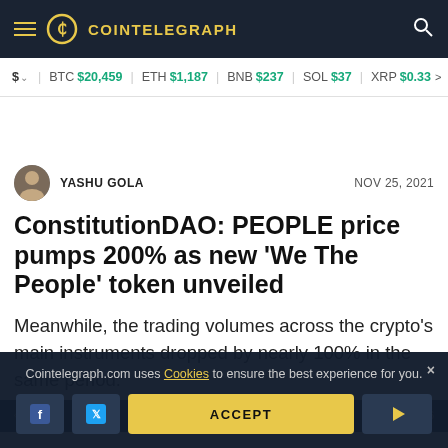COINTELEGRAPH
$ BTC $20,459  ETH $1,187  BNB $237  SOL $37  XRP $0.33
YASHU GOLA  NOV 25, 2021
ConstitutionDAO: PEOPLE price pumps 200% as new 'We The People' token unveiled
Meanwhile, the trading volumes across the crypto's main instruments dropped by nearly 100% in the same period.
Cointelegraph.com uses Cookies to ensure the best experience for you.
ACCEPT